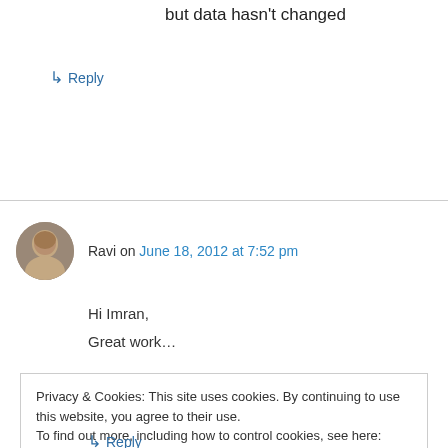but data hasn't changed
↳ Reply
Ravi on June 18, 2012 at 7:52 pm
Hi Imran,
Great work…
Privacy & Cookies: This site uses cookies. By continuing to use this website, you agree to their use. To find out more, including how to control cookies, see here: Cookie Policy
Close and accept
↳ Reply